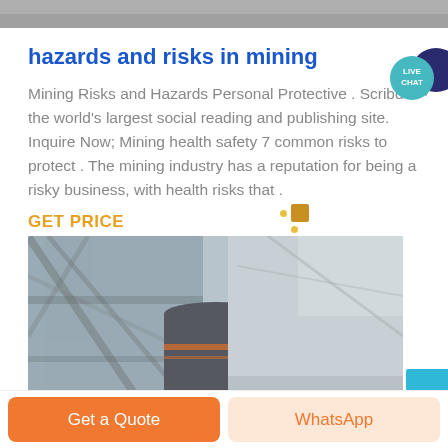[Figure (photo): Top portion of a mining/industrial photo, cropped at top of page]
hazards and risks in mining
Mining Risks and Hazards Personal Protective . Scribd is the world's largest social reading and publishing site. Inquire Now; Mining health safety 7 common risks to protect . The mining industry has a reputation for being a risky business, with health risks that .
[Figure (infographic): Live Chat speech bubble badge in teal and dark blue]
GET PRICE
[Figure (photo): Industrial mining equipment photo showing a large cylindrical tank/vessel inside a warehouse structure with metal framework]
[Figure (other): Get a Quote orange button and WhatsApp button at bottom of page]